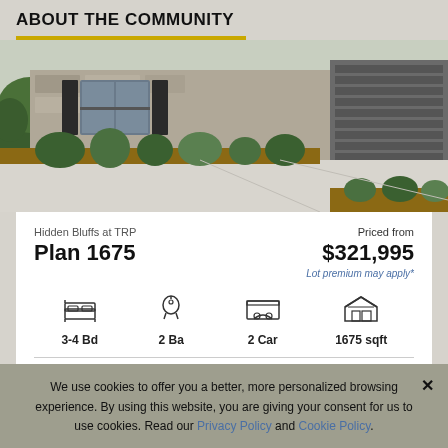ABOUT THE COMMUNITY
[Figure (photo): Exterior photo of a home with stone facade, landscaped driveway, and garage]
Hidden Bluffs at TRP
Plan 1675
Priced from
$321,995
Lot premium may apply*
3-4 Bd
2 Ba
2 Car
1675 sqft
We use cookies to offer you a better, more personalized browsing experience. By using this website, you are giving your consent for us to use cookies. Read our Privacy Policy and Cookie Policy.